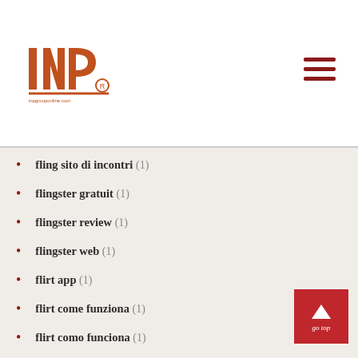INP logo and navigation
fling sito di incontri (1)
flingster gratuit (1)
flingster review (1)
flingster web (1)
flirt app (1)
flirt come funziona (1)
flirt como funciona (1)
Flirt reviews (1)
Flirt visitors (2)
flirt4free como funciona (1)
flirt4free review (1)